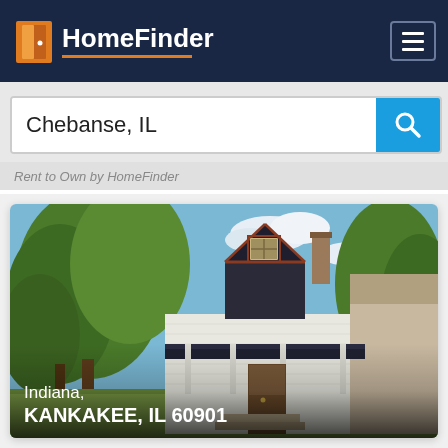HomeFinder
Chebanse, IL
Rent to Own by HomeFinder
[Figure (photo): Street view photo of a white two-story Victorian-style house with dark roof, front porch, and large trees in foreground, blue sky background. Text overlay reads: Indiana, KANKAKEE, IL 60901]
Indiana, KANKAKEE, IL 60901